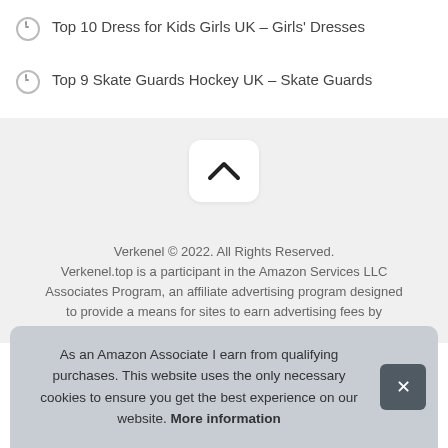Top 10 Dress for Kids Girls UK – Girls' Dresses
Top 9 Skate Guards Hockey UK – Skate Guards
[Figure (other): Scroll-to-top button with upward chevron arrow on light gray background]
Verkenel © 2022. All Rights Reserved. Verkenel.top is a participant in the Amazon Services LLC Associates Program, an affiliate advertising program designed to provide a means for sites to earn advertising fees by advertising and linking to Amazon.co.uk.
As an Amazon Associate I earn from qualifying purchases. This website uses the only necessary cookies to ensure you get the best experience on our website. More information